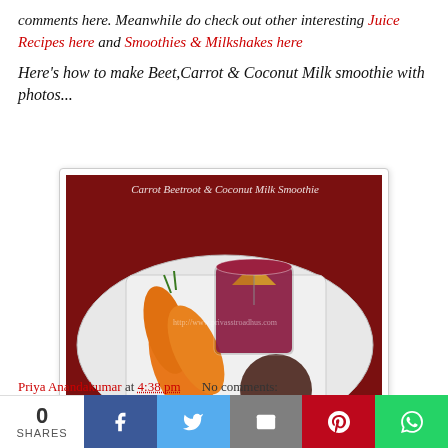comments here. Meanwhile do check out other interesting Juice Recipes here and Smoothies & Milkshakes here
Here's how to make Beet,Carrot & Coconut Milk smoothie with photos...
[Figure (photo): Carrot Beetroot & Coconut Milk Smoothie - a glass of dark red smoothie with a cocktail umbrella, flanked by carrots and a beetroot on a white plate against a red background]
Priya Anandakumar at 4:38 pm   No comments:
0 SHARES with Facebook, Twitter, Email, Pinterest, WhatsApp share buttons